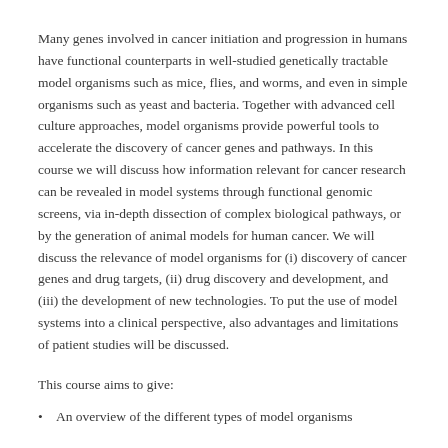Many genes involved in cancer initiation and progression in humans have functional counterparts in well-studied genetically tractable model organisms such as mice, flies, and worms, and even in simple organisms such as yeast and bacteria. Together with advanced cell culture approaches, model organisms provide powerful tools to accelerate the discovery of cancer genes and pathways. In this course we will discuss how information relevant for cancer research can be revealed in model systems through functional genomic screens, via in-depth dissection of complex biological pathways, or by the generation of animal models for human cancer. We will discuss the relevance of model organisms for (i) discovery of cancer genes and drug targets, (ii) drug discovery and development, and (iii) the development of new technologies. To put the use of model systems into a clinical perspective, also advantages and limitations of patient studies will be discussed.
This course aims to give:
An overview of the different types of model organisms